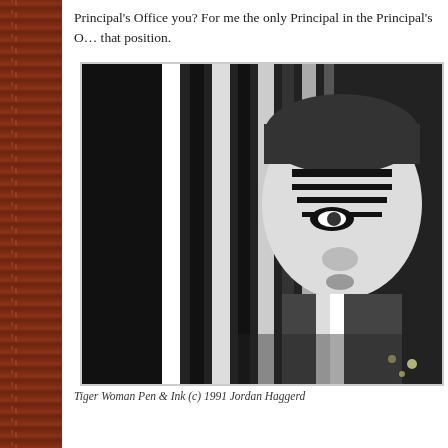Principal's Office you? For me the only Principal in the Principal's O… that position.
[Figure (illustration): Black and white high-contrast illustration or photograph of a person with dramatic facial markings or makeup, appearing to look to the side, with striped or patterned background elements]
Tiger Woman Pen & Ink (c) 1991 Jordan Haggerd